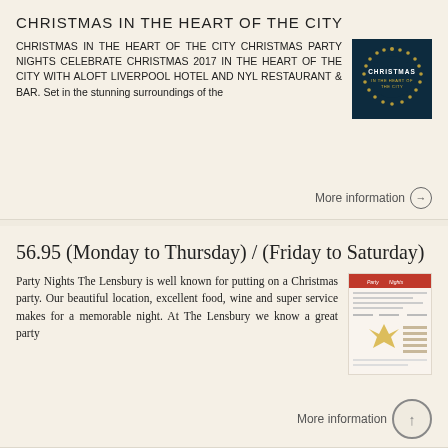CHRISTMAS IN THE HEART OF THE CITY
CHRISTMAS IN THE HEART OF THE CITY CHRISTMAS PARTY NIGHTS CELEBRATE CHRISTMAS 2017 IN THE HEART OF THE CITY WITH ALOFT LIVERPOOL HOTEL AND NYL RESTAURANT & BAR. Set in the stunning surroundings of the
More information →
56.95 (Monday to Thursday) / (Friday to Saturday)
Party Nights The Lensbury is well known for putting on a Christmas party. Our beautiful location, excellent food, wine and super service makes for a memorable night. At The Lensbury we know a great party
More information →